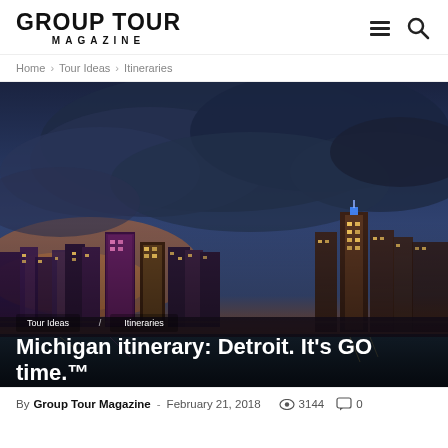GROUP TOUR MAGAZINE
Home › Tour Ideas › Itineraries
[Figure (photo): Aerial night view of Detroit city skyline with dramatic blue and orange cloudy sky, illuminated skyscrapers including the Renaissance Center visible on the right, river in foreground]
Michigan itinerary: Detroit. It's GO time.™
By Group Tour Magazine - February 21, 2018  3144  0